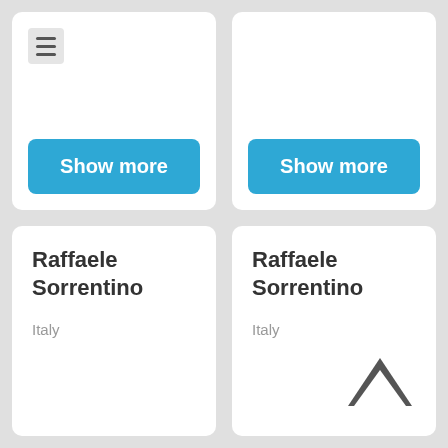[Figure (screenshot): Top-left card with menu icon and Show more button]
[Figure (screenshot): Top-right card with Show more button]
Raffaele Sorrentino
Italy
Raffaele Sorrentino
Italy